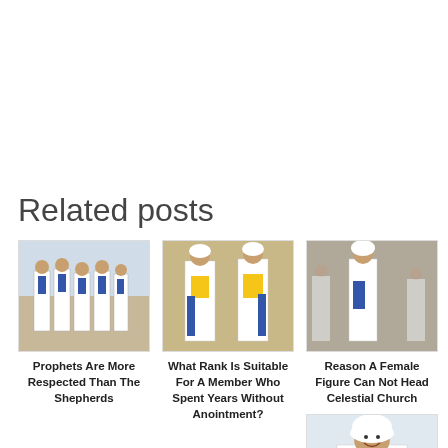Related posts
[Figure (photo): Group of people in white robes with blue sashes standing together outdoors]
Prophets Are More Respected Than The Shepherds
[Figure (photo): Two women in white robes with yellow and blue sashes posing together]
What Rank Is Suitable For A Member Who Spent Years Without Anointment?
[Figure (photo): Person in white robe with blue sash in a crowd setting]
Reason A Female Figure Can Not Head Celestial Church
[Figure (photo): Woman in white dress and white head covering, smiling]
Unacceptable New...